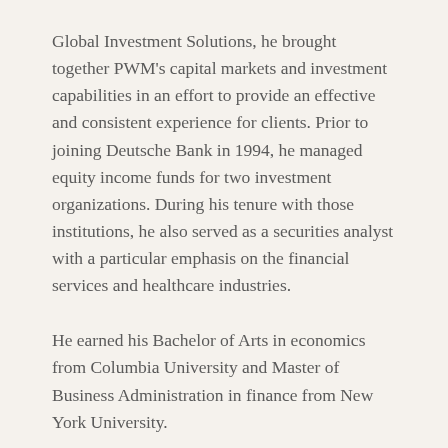Global Investment Solutions, he brought together PWM's capital markets and investment capabilities in an effort to provide an effective and consistent experience for clients. Prior to joining Deutsche Bank in 1994, he managed equity income funds for two investment organizations. During his tenure with those institutions, he also served as a securities analyst with a particular emphasis on the financial services and healthcare industries.
He earned his Bachelor of Arts in economics from Columbia University and Master of Business Administration in finance from New York University.
CONNECT WITH BEN ›